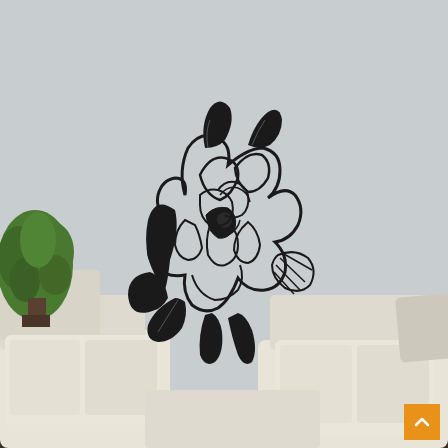[Figure (photo): A room interior showing a light gray wall with a large black vinyl wall decal of a rose flower with leaves. In the lower left is a potted green plant, and in the foreground are cream/white sofas/chairs. In the bottom right corner is an orange scroll-to-top button with an upward chevron.]